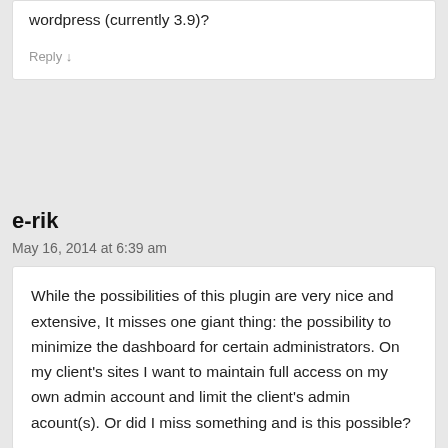wordpress (currently 3.9)?
Reply ↓
e-rik
May 16, 2014 at 6:39 am
While the possibilities of this plugin are very nice and extensive, It misses one giant thing: the possibility to minimize the dashboard for certain administrators. On my client's sites I want to maintain full access on my own admin account and limit the client's admin acount(s). Or did I miss something and is this possible?